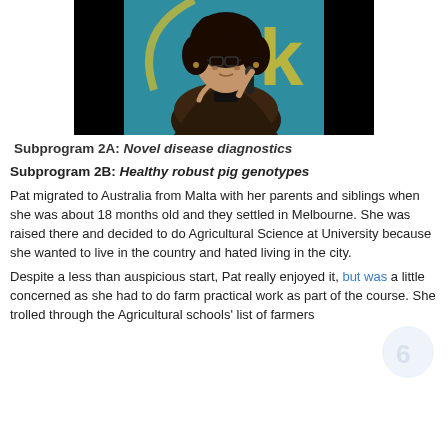[Figure (photo): A woman with curly dark hair holding a microphone, standing in front of a teal/blue backdrop. Photo has black background framing.]
Subprogram 2A: Novel disease diagnostics
Subprogram 2B: Healthy robust pig genotypes
Pat migrated to Australia from Malta with her parents and siblings when she was about 18 months old and they settled in Melbourne. She was raised there and decided to do Agricultural Science at University because she wanted to live in the country and hated living in the city.
Despite a less than auspicious start, Pat really enjoyed it, but was a little concerned as she had to do farm practical work as part of the course. She trolled through the Agricultural schools' list of farmers